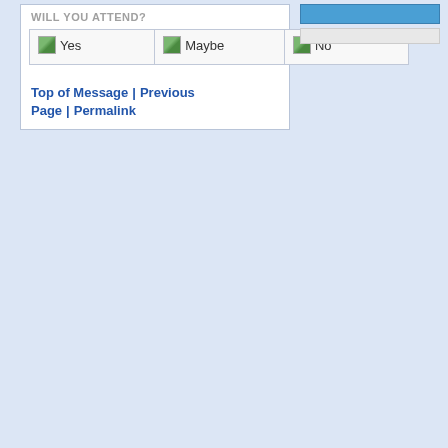WILL YOU ATTEND?
| Yes | Maybe | No |
| --- | --- | --- |
Top of Message | Previous Page | Permalink